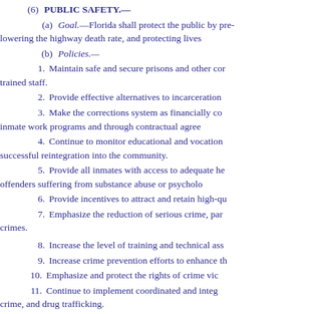(6)   PUBLIC SAFETY.—
(a)   Goal.—Florida shall protect the public by preventing crime, lowering the highway death rate, and protecting lives and property.
(b)   Policies.—
1.   Maintain safe and secure prisons and other correctional facilities with trained staff.
2.   Provide effective alternatives to incarceration.
3.   Make the corrections system as financially cost-effective as possible through inmate work programs and through contractual agreements with private entities.
4.   Continue to monitor educational and vocational programs which promote successful reintegration into the community.
5.   Provide all inmates with access to adequate health care, with emphasis on offenders suffering from substance abuse or psychological problems.
6.   Provide incentives to attract and retain high-quality staff.
7.   Emphasize the reduction of serious crime, particularly drug-related crimes.
8.   Increase the level of training and technical assistance to local agencies.
9.   Increase crime prevention efforts to enhance the safety of citizens.
10.   Emphasize and protect the rights of crime victims.
11.   Continue to implement coordinated and integrated efforts to reduce crime, and drug trafficking.
12.   Expand the state's provisions for the protection of children.